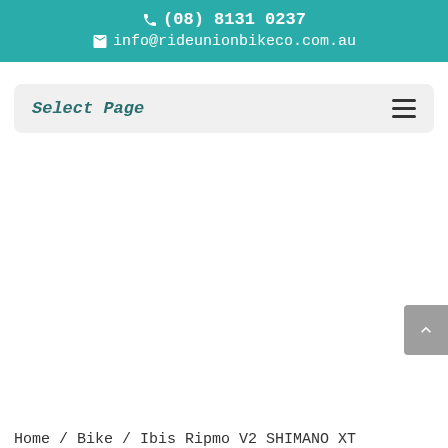(08) 8131 0237 | info@rideunionbikeco.com.au
Select Page
Home / Bike / Ibis Ripmo V2 SHIMANO XT